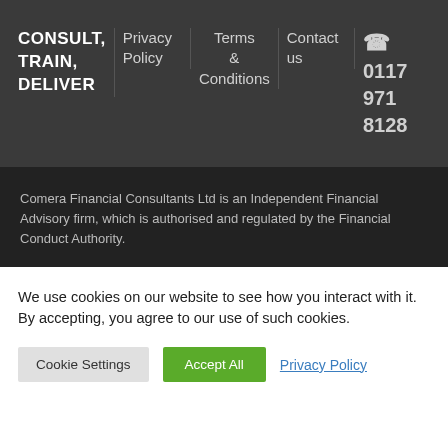CONSULT, TRAIN, DELIVER
Privacy Policy
Terms & Conditions
Contact us
☎ 0117 971 8128
Comera Financial Consultants Ltd is an Independent Financial Advisory firm, which is authorised and regulated by the Financial Conduct Authority.
We use cookies on our website to see how you interact with it. By accepting, you agree to our use of such cookies.
Cookie Settings
Accept All
Privacy Policy